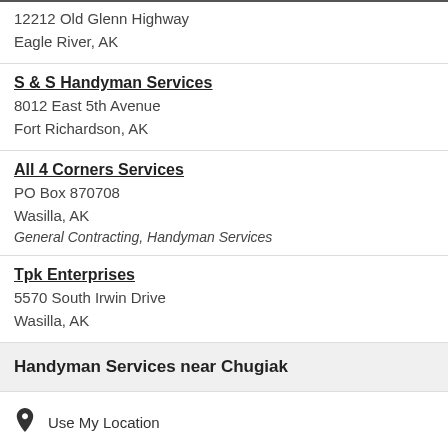12212 Old Glenn Highway
Eagle River, AK
S & S Handyman Services
8012 East 5th Avenue
Fort Richardson, AK
All 4 Corners Services
PO Box 870708
Wasilla, AK
General Contracting, Handyman Services
Tpk Enterprises
5570 South Irwin Drive
Wasilla, AK
Handyman Services near Chugiak
Use My Location
Chugiak